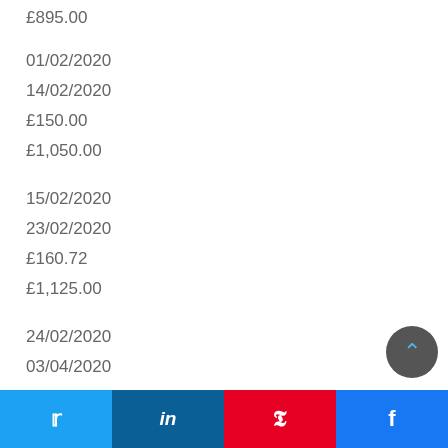£895.00
01/02/2020
14/02/2020
£150.00
£1,050.00
15/02/2020
23/02/2020
£160.72
£1,125.00
24/02/2020
03/04/2020
£150.00
£1,050.00
Twitter | LinkedIn | Pinterest | Facebook share buttons